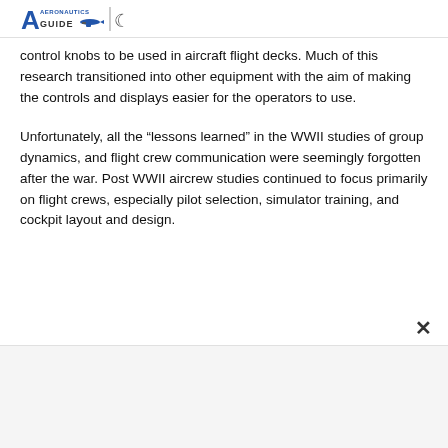Aeronautics Guide [logo]
control knobs to be used in aircraft flight decks. Much of this research transitioned into other equipment with the aim of making the controls and displays easier for the operators to use.
Unfortunately, all the „lessons learned” in the WWII studies of group dynamics, and flight crew communication were seemingly forgotten after the war. Post WWII aircrew studies continued to focus primarily on flight crews, especially pilot selection, simulator training, and cockpit layout and design.